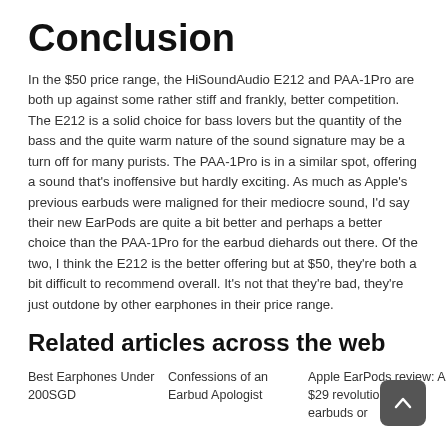Conclusion
In the $50 price range, the HiSoundAudio E212 and PAA-1Pro are both up against some rather stiff and frankly, better competition. The E212 is a solid choice for bass lovers but the quantity of the bass and the quite warm nature of the sound signature may be a turn off for many purists. The PAA-1Pro is in a similar spot, offering a sound that's inoffensive but hardly exciting. As much as Apple's previous earbuds were maligned for their mediocre sound, I'd say their new EarPods are quite a bit better and perhaps a better choice than the PAA-1Pro for the earbud diehards out there. Of the two, I think the E212 is the better offering but at $50, they're both a bit difficult to recommend overall. It's not that they're bad, they're just outdone by other earphones in their price range.
Related articles across the web
Best Earphones Under 200SGD
Confessions of an Earbud Apologist
Apple EarPods review: A $29 revolution in earbuds or